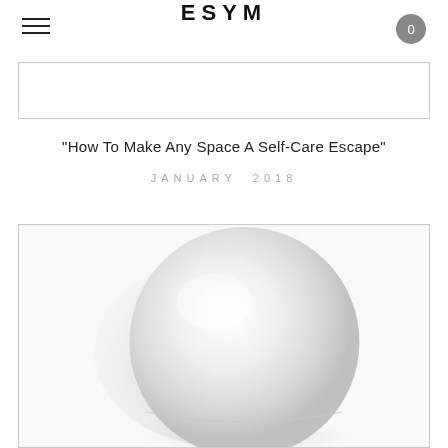ESYM
[Figure (screenshot): Top image placeholder box with light border]
"How To Make Any Space A Self-Care Escape"
JANUARY 2018
[Figure (photo): A rounded white/light grey spherical product object photographed against a white background with soft shadow]